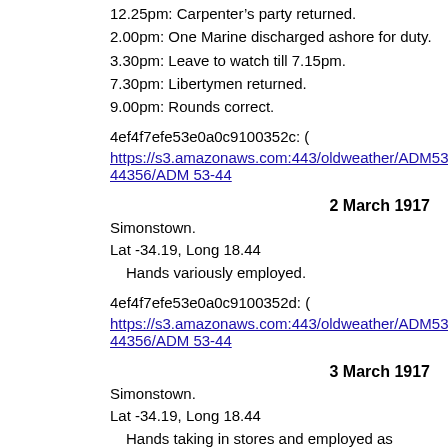12.25pm: Carpenter's party returned.
2.00pm: One Marine discharged ashore for duty.
3.30pm: Leave to watch till 7.15pm.
7.30pm: Libertymen returned.
9.00pm: Rounds correct.
4ef4f7efe53e0a0c9100352c: (
https://s3.amazonaws.com:443/oldweather/ADM53-44356/ADM 53-44
2 March 1917
Simonstown.
Lat -34.19, Long 18.44
Hands variously employed.
4ef4f7efe53e0a0c9100352d: (
https://s3.amazonaws.com:443/oldweather/ADM53-44356/ADM 53-44
3 March 1917
Simonstown.
Lat -34.19, Long 18.44
Hands taking in stores and employed as requisite.
4ef4f7efe53e0a0c9100352e: (
https://s3.amazonaws.com:443/oldweather/ADM53-44356/ADM 53-44
4 March 1917
Simonstown.
Lat -34.19, Long 18.44
Sunday routine.
4ef4f7efe53e0a0c9100352f: (